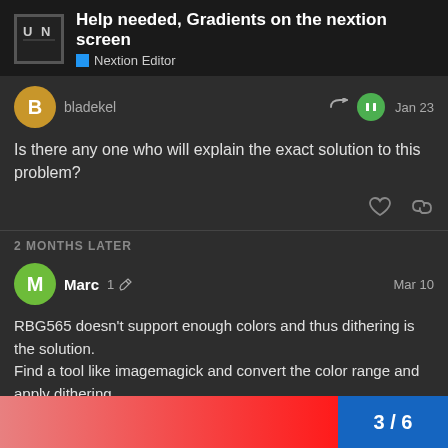Help needed, Gradients on the nextion screen | Nextion Editor
bladekel Jan 23
Is there any one who will explain the exact solution to this problem?
2 MONTHS LATER
Marc 1 Mar 10
RBG565 doesn't support enough colors and thus dithering is the solution.
Find a tool like imagemagick and convert the color range and apply dithering.
3 / 6